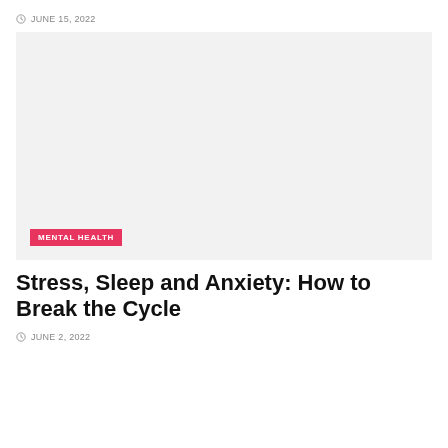JUNE 15, 2022
[Figure (photo): Large placeholder image area with a MENTAL HEALTH category badge in the lower left corner]
Stress, Sleep and Anxiety: How to Break the Cycle
JUNE 2, 2022